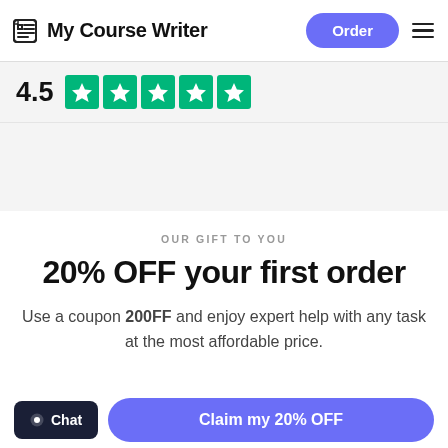My Course Writer | Order
[Figure (infographic): Rating display showing 4.5 with five green Trustpilot-style star boxes]
OUR GIFT TO YOU
20% OFF your first order
Use a coupon 200FF and enjoy expert help with any task at the most affordable price.
Chat | Claim my 20% OFF